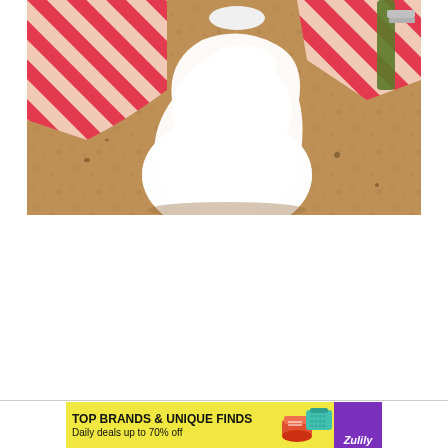[Figure (photo): Close-up photograph on a granite countertop showing a white ceramic teapot or pitcher alongside a folded red and white diagonal striped cloth/towel, with a green-handled knife or utensil visible in the upper right corner.]
[Figure (photo): Advertisement banner with yellow background: 'TOP BRANDS & UNIQUE FINDS' headline in bold black, 'Daily deals up to 70% off' subline, small product images of shoes and a teal handbag, and Zulily logo in purple on the right. Skip/close icons (triangle and X) at top right of banner.]